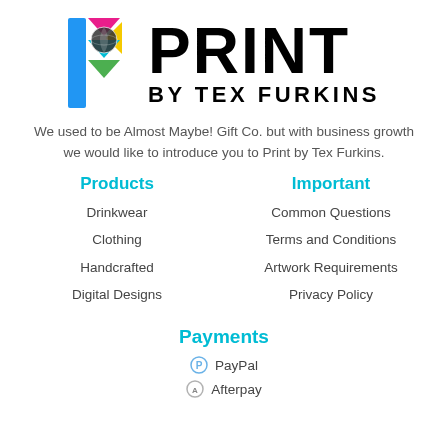[Figure (logo): Print by Tex Furkins logo with colorful geometric P icon and bold PRINT BY TEX FURKINS text]
We used to be Almost Maybe! Gift Co. but with business growth we would like to introduce you to Print by Tex Furkins.
Products
Important
Drinkwear
Common Questions
Clothing
Terms and Conditions
Handcrafted
Artwork Requirements
Digital Designs
Privacy Policy
Payments
PayPal
Afterpay